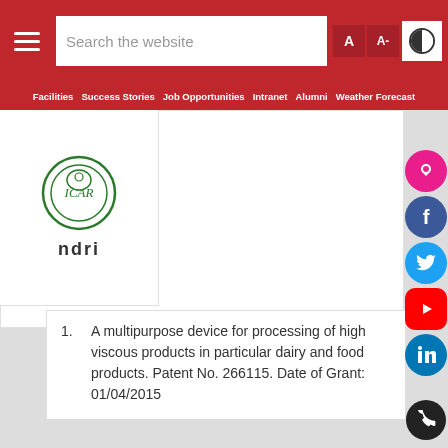Search the website | A | A- | contrast button
Facilities | Success Stories | Job Opportunities | Intranet | Alumni | Weather Forecast
[Figure (logo): ICAR-NDRI circular logo with ndri text below]
भा.कृ.अनु.प.- राष्ट्रीय डेरी अनुसंधान संस्थान
ICAR-National Dairy Research Institute
A multipurpose device for processing of high viscous products in particular dairy and food products. Patent No. 266115. Date of Grant: 01/04/2015
[Figure (photo): Bottom section with red background and Hindi text पशुधन]